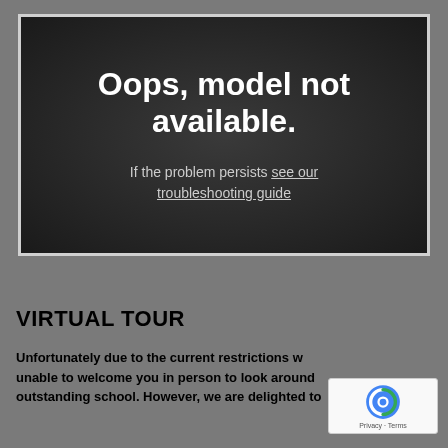[Figure (screenshot): Error overlay box with dark background displaying 'Oops, model not available.' and a link to troubleshooting guide]
VIRTUAL TOUR
Unfortunately due to the current restrictions w[e are] unable to welcome you in person to look around [our] outstanding school. However, we are delighted to...